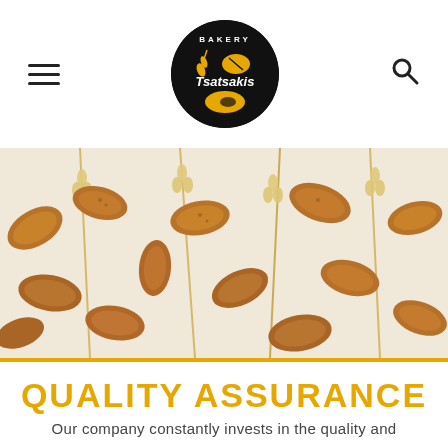[Figure (logo): Bakery Tsatsakis circular logo with black background, white text and yellow bread graphic]
[Figure (photo): Overhead photo of rustic bread slices and wheat stalks on a white background]
QUALITY ASSURANCE
Our company constantly invests in the quality and